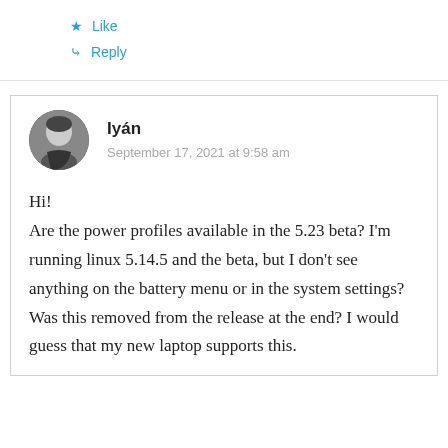★ Like
↳ Reply
Iyán
September 17, 2021 at 9:58 am
Hi!
Are the power profiles available in the 5.23 beta? I'm running linux 5.14.5 and the beta, but I don't see anything on the battery menu or in the system settings? Was this removed from the release at the end? I would guess that my new laptop supports this.